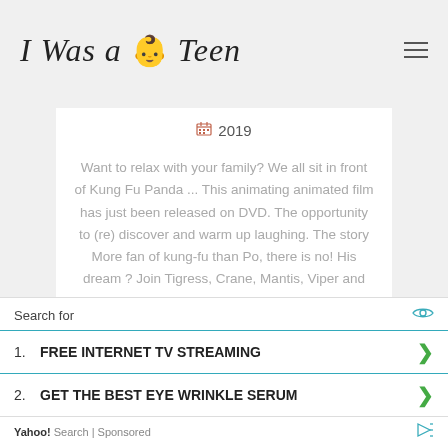I Was a Teen
2019
Want to relax with your family? We all sit in front of Kung Fu Panda ... This animating animated film has just been released on DVD. The opportunity to (re) discover and warm up laughing. The story More fan of kung-fu than Po, there is no! His dream ? Join Tigress, Crane, Mantis, Viper and Monkey, outstanding fighters, all trained by Master Shifu.
Search for
1. FREE INTERNET TV STREAMING
2. GET THE BEST EYE WRINKLE SERUM
Yahoo! Search | Sponsored